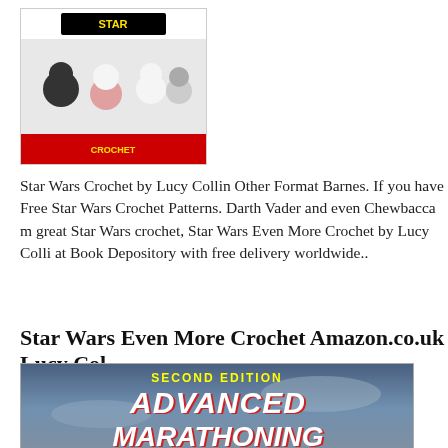[Figure (photo): Book cover thumbnail of Star Wars crochet book with small crocheted Star Wars characters including BB-8 and stormtroopers]
Star Wars Crochet by Lucy Collin Other Format Barnes. If you have Free Star Wars Crochet Patterns. Darth Vader and even Chewbacca m great Star Wars crochet, Star Wars Even More Crochet by Lucy Colli at Book Depository with free delivery worldwide..
Star Wars Even More Crochet Amazon.co.uk Lucy Col
[Figure (photo): Book cover with dark blue sky background showing title text 'SECOND EDITION' in yellow, 'ADVANCED MARATHONING' in large white bold italic letters with red shadow effect]